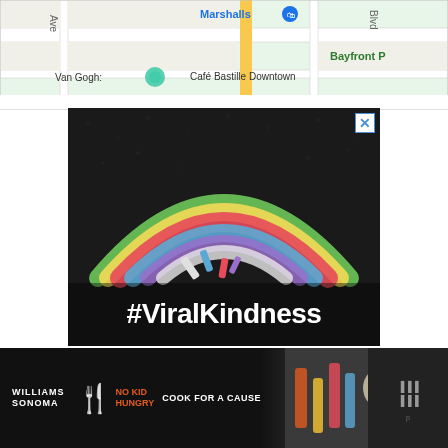[Figure (map): Google Maps screenshot showing street map with Marshalls, Van Gogh museum marker, Café Bastille Downtown, and Bayfront P labels visible]
[Figure (photo): Advertisement photo showing a chalk-drawn rainbow on asphalt pavement with chalk pieces in the foreground and white text reading #ViralKindness at the bottom. Close/X button in top right corner.]
[Figure (photo): Bottom banner ad for Williams Sonoma featuring 'No Kid Hungry - Cook for a Cause' with colorful kitchen/food items on the right side and Walmart/WMP logo on the far right]